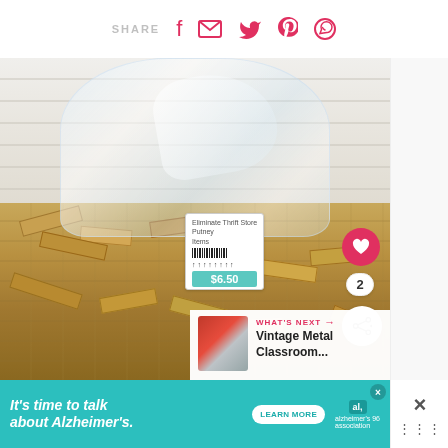SHARE
[Figure (photo): A large clear plastic bag filled with many small natural wood rectangular blocks/pieces, sitting in a wooden crate or tray, photographed against a white shiplap wall background. A price tag showing $6.50 from an Eliminate Thrift Store is attached. A heart/favorite button and share button appear on the right side overlay.]
WHAT'S NEXT → Vintage Metal Classroom...
It's time to talk about Alzheimer's.
LEARN MORE